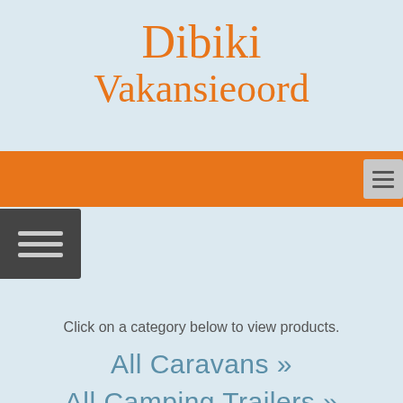Dibiki Vakansieoord
[Figure (other): Orange navigation bar with hamburger menu icon on the right]
[Figure (other): Dark grey hamburger menu button on the left side]
Click on a category below to view products.
All Caravans >>
All Camping Trailers >>